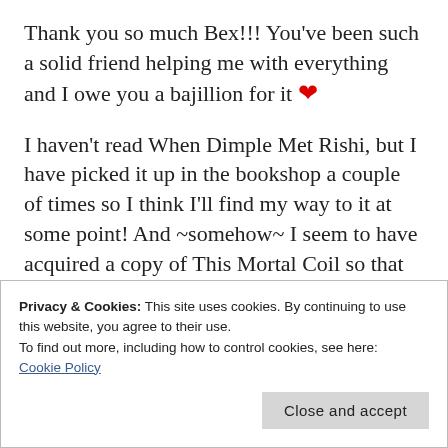Thank you so much Bex!!! You've been such a solid friend helping me with everything and I owe you a bajillion for it ❤
I haven't read When Dimple Met Rishi, but I have picked it up in the bookshop a couple of times so I think I'll find my way to it at some point! And ~somehow~ I seem to have acquired a copy of This Mortal Coil so that has shot to the top of my list 😉
Privacy & Cookies: This site uses cookies. By continuing to use this website, you agree to their use.
To find out more, including how to control cookies, see here: Cookie Policy
Close and accept